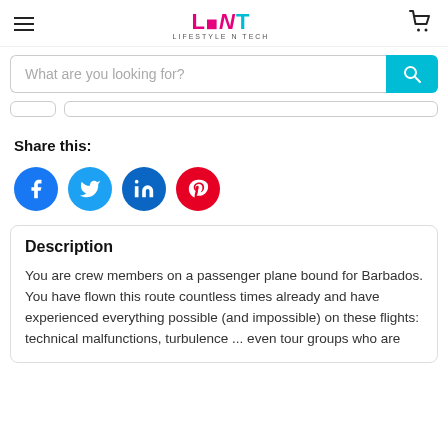LNT LIFESTYLE N TECH
What are you looking for?
Share this:
[Figure (other): Social share icons: Facebook, Twitter, LinkedIn, Pinterest]
Description
You are crew members on a passenger plane bound for Barbados. You have flown this route countless times already and have experienced everything possible (and impossible) on these flights: technical malfunctions, turbulence ... even tour groups who are